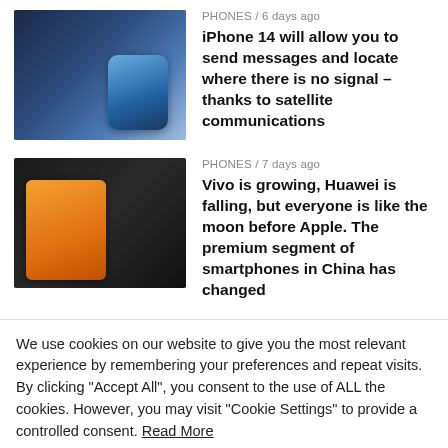[Figure (photo): Blue iPhone 14 Pro with triple camera system]
PHONES / 6 days ago
iPhone 14 will allow you to send messages and locate where there is no signal – thanks to satellite communications
[Figure (photo): Orange Vivo phone on dark background with orange accent]
PHONES / 7 days ago
Vivo is growing, Huawei is falling, but everyone is like the moon before Apple. The premium segment of smartphones in China has changed
We use cookies on our website to give you the most relevant experience by remembering your preferences and repeat visits. By clicking "Accept All", you consent to the use of ALL the cookies. However, you may visit "Cookie Settings" to provide a controlled consent. Read More